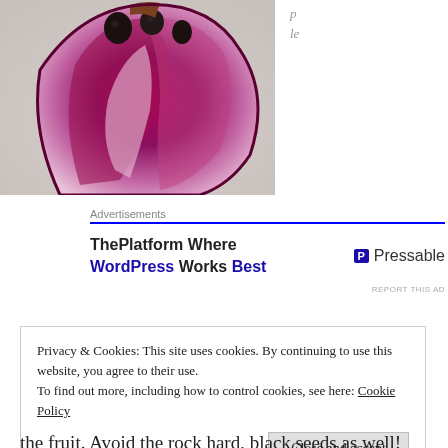[Figure (photo): A sliced dark purple/magenta fruit (possibly black sapote or similar tropical fruit) cut open on a white paper towel, showing dark seeds and purplish flesh interior.]
p
le
[Figure (infographic): Advertisement banner: ThePlatform Where WordPress Works Best - Pressable. With blue underline separator and REPORT THIS AD text.]
Privacy & Cookies: This site uses cookies. By continuing to use this website, you agree to their use.
To find out more, including how to control cookies, see here: Cookie Policy
Close and accept
the fruit. Avoid the rock hard, black seeds as well!